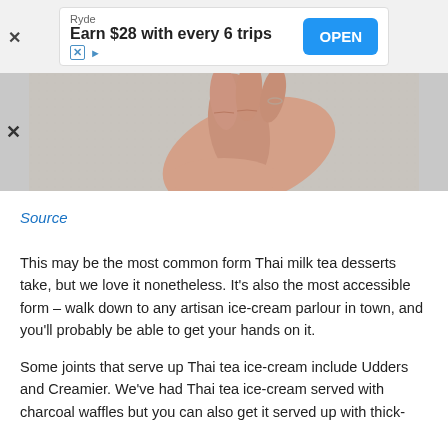[Figure (screenshot): Advertisement banner: Ryde app - Earn $28 with every 6 trips, with blue OPEN button]
[Figure (photo): Close-up photo of a person's hand against a grey textured wall background]
Source
This may be the most common form Thai milk tea desserts take, but we love it nonetheless. It's also the most accessible form – walk down to any artisan ice-cream parlour in town, and you'll probably be able to get your hands on it.
Some joints that serve up Thai tea ice-cream include Udders and Creamier. We've had Thai tea ice-cream served with charcoal waffles but you can also get it served up with thick-